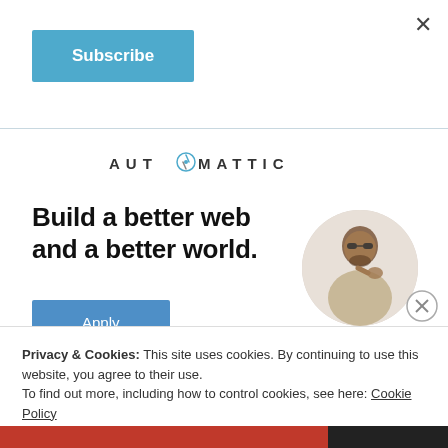×
Subscribe
[Figure (logo): Automattic logo with compass icon replacing the letter O]
Build a better web and a better world.
Apply
[Figure (photo): Circular cropped photo of a man wearing sunglasses and a beige shirt, looking upward with hand on chin]
Privacy & Cookies: This site uses cookies. By continuing to use this website, you agree to their use.
To find out more, including how to control cookies, see here: Cookie Policy
Close and accept